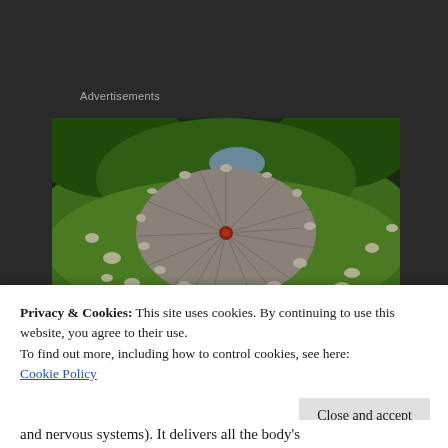Advertisements
[Figure (photo): Aerial view of a large circular stone formation on a green grassy landscape, resembling a giant wheel with radiating spokes, surrounded by trees and scattered boulders.]
Privacy & Cookies: This site uses cookies. By continuing to use this website, you agree to their use.
To find out more, including how to control cookies, see here:
Cookie Policy
Close and accept
and nervous systems). It delivers all the body's